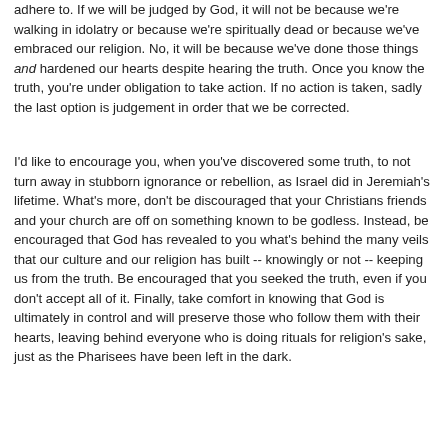adhere to. If we will be judged by God, it will not be because we're walking in idolatry or because we're spiritually dead or because we've embraced our religion. No, it will be because we've done those things and hardened our hearts despite hearing the truth. Once you know the truth, you're under obligation to take action. If no action is taken, sadly the last option is judgement in order that we be corrected.
I'd like to encourage you, when you've discovered some truth, to not turn away in stubborn ignorance or rebellion, as Israel did in Jeremiah's lifetime. What's more, don't be discouraged that your Christians friends and your church are off on something known to be godless. Instead, be encouraged that God has revealed to you what's behind the many veils that our culture and our religion has built -- knowingly or not -- keeping us from the truth. Be encouraged that you seeked the truth, even if you don't accept all of it. Finally, take comfort in knowing that God is ultimately in control and will preserve those who follow them with their hearts, leaving behind everyone who is doing rituals for religion's sake, just as the Pharisees have been left in the dark.